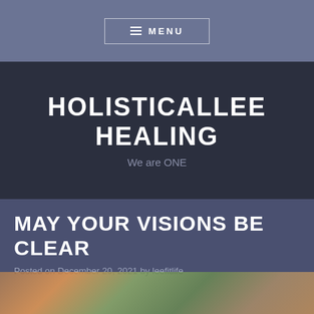≡ MENU
HOLISTICALLEE HEALING
We are ONE
MAY YOUR VISIONS BE CLEAR
Posted on December 20, 2021 by leefitlife
[Figure (photo): Colorful image strip at the bottom of the page]